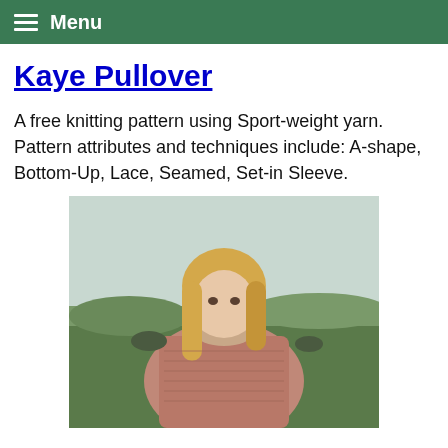Menu
Kaye Pullover
A free knitting pattern using Sport-weight yarn. Pattern attributes and techniques include: A-shape, Bottom-Up, Lace, Seamed, Set-in Sleeve.
[Figure (photo): A young blonde woman wearing a pink/mauve knitted pullover sweater, standing outdoors in a field with a natural landscape background.]